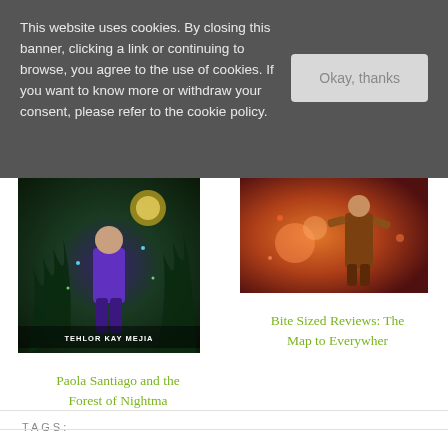This website uses cookies. By closing this banner, clicking a link or continuing to browse, you agree to the use of cookies. If you want to know more or withdraw your consent, please refer to the cookie policy.
Okay, thanks
[Figure (illustration): Book cover illustration for Paola Santiago and the Forest of Nightmares by Tehlor Kay Mejia, showing a fantasy scene with a character in purple clothing surrounded by dark forest elements and glowing lights]
Paola Santiago and the Forest of Nightma
[Figure (illustration): Book cover or promotional image for Bite Sized Reviews: The Map to Everywhere, showing a warm-toned adventure scene with a character in brown clothing against an orange/red atmospheric background]
Bite Sized Reviews: The Map to Everywher
TAGS: